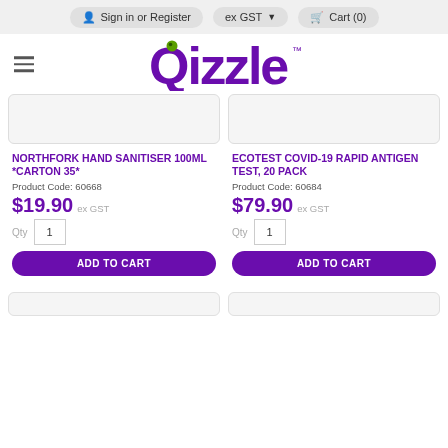Sign in or Register | ex GST | Cart (0)
Qizzle
NORTHFORK HAND SANITISER 100ML *CARTON 35*
Product Code: 60668
$19.90 ex GST
ECOTEST COVID-19 RAPID ANTIGEN TEST, 20 PACK
Product Code: 60684
$79.90 ex GST